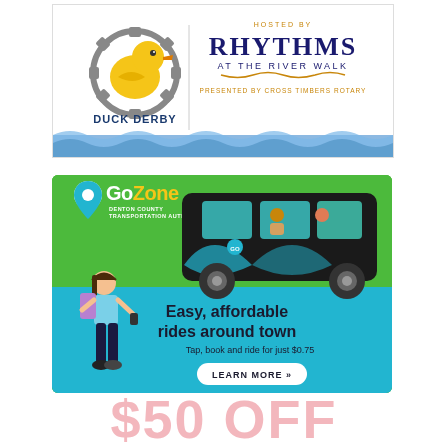[Figure (illustration): Duck Derby event banner hosted by Rhythms at the River Walk, presented by Cross Timbers Rotary. Features a rubber duck logo with gear/cog, and stylized event text.]
[Figure (infographic): GoZone Denton County Transportation Authority advertisement. Green and blue background with person illustration and black GoZone-branded van. Text reads: Easy, affordable rides around town. Tap, book and ride for just $0.75. LEARN MORE button.]
$50 OFF